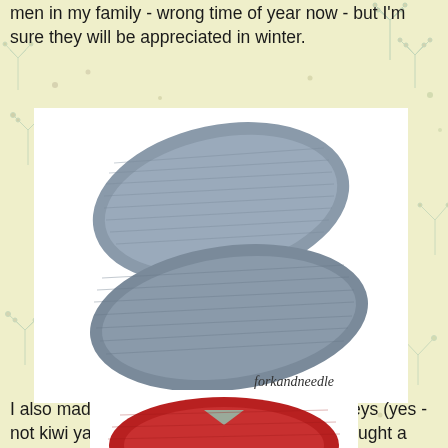bag balls over the two colour. Both will be gifted to farming men in my family - wrong time of year now - but I'm sure they will be appreciated in winter.
[Figure (photo): Two grey knitted wrist warmers/fingerless gloves laid overlapping on a white background. Watermark text 'forkandneedle' in bottom right corner.]
forkandneedle
I also made one in a red based yarn by Twilleys (yes - not kiwi yarn - sorry!) 'freedom spirit' that I bought a number of balls of at the same sale.  I will be knitting many more of these, they feel so yum!
[Figure (photo): Partial view of a red knitted item at the bottom of the page.]